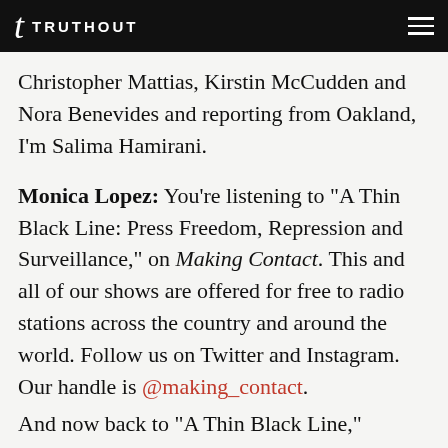TRUTHOUT
Christopher Mattias, Kirstin McCudden and Nora Benevides and reporting from Oakland, I'm Salima Hamirani.
Monica Lopez: You're listening to "A Thin Black Line: Press Freedom, Repression and Surveillance," on Making Contact. This and all of our shows are offered for free to radio stations across the country and around the world. Follow us on Twitter and Instagram. Our handle is @making_contact.
And now back to "A Thin Black Line,"